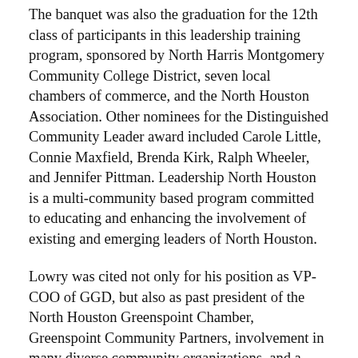The banquet was also the graduation for the 12th class of participants in this leadership training program, sponsored by North Harris Montgomery Community College District, seven local chambers of commerce, and the North Houston Association. Other nominees for the Distinguished Community Leader award included Carole Little, Connie Maxfield, Brenda Kirk, Ralph Wheeler, and Jennifer Pittman. Leadership North Houston is a multi-community based program committed to educating and enhancing the involvement of existing and emerging leaders of North Houston.
Lowry was cited not only for his position as VP-COO of GGD, but also as past president of the North Houston Greenspoint Chamber, Greenspoint Community Partners, involvement in many diverse community organizations, and a leader in improving public safety in the area.